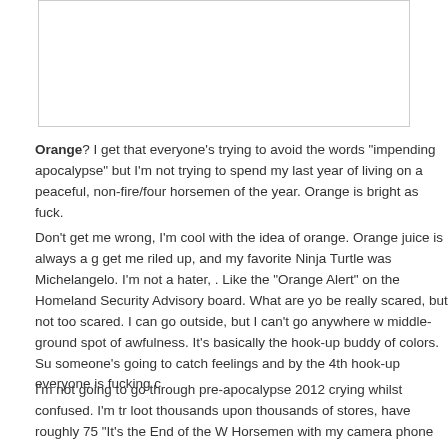[Figure (other): Empty white rectangular box with light border, likely a placeholder for an image.]
Orange? I get that everyone's trying to avoid the words "impending apocalypse" but I'm not trying to spend my last year of living on a peaceful, non-fire/four horsemen of the year. Orange is bright as fuck.
Don't get me wrong, I'm cool with the idea of orange. Orange juice is always a g get me riled up, and my favorite Ninja Turtle was Michelangelo. I'm not a hater, . Like the "Orange Alert" on the Homeland Security Advisory board. What are yo be really scared, but not too scared. I can go outside, but I can't go anywhere w middle-ground spot of awfulness. It's basically the hook-up buddy of colors. Su someone's going to catch feelings and by the 4th hook-up everyone is fucking c
I'm not going to go through pre-apocalypse 2012 crying whilst confused. I'm tr loot thousands upon thousands of stores, have roughly 75 "It's the End of the W Horsemen with my camera phone out for some legit Mobile Uploads. Can't ach just smiling at yo every morning.